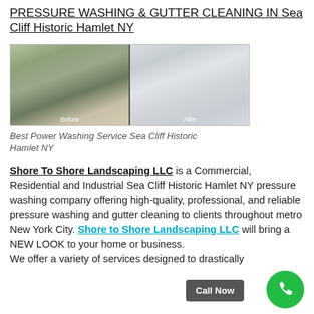PRESSURE WASHING & GUTTER CLEANING IN Sea Cliff Historic Hamlet NY
[Figure (photo): Before and after comparison photos of a house exterior showing pressure washing results. Left image labeled 'Before' shows a dirty/dark house exterior, right image labeled 'After' shows a clean white house exterior.]
Best Power Washing Service Sea Cliff Historic Hamlet NY
Shore To Shore Landscaping LLC is a Commercial, Residential and Industrial Sea Cliff Historic Hamlet NY pressure washing company offering high-quality, professional, and reliable pressure washing and gutter cleaning to clients throughout metro New York City. Shore to Shore Landscaping LLC will bring a NEW LOOK to your home or business. We offer a variety of services designed to drastically